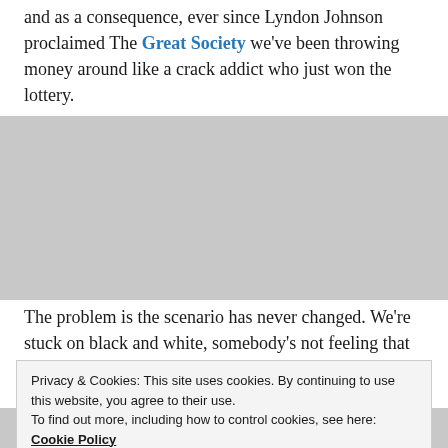and as a consequence, ever since Lyndon Johnson proclaimed The Great Society we've been throwing money around like a crack addict who just won the lottery.
The problem is the scenario has never changed. We're stuck on black and white, somebody's not feeling that well, and we never get to in-colour carefree recreation – forget candlelit dining.  Our
Privacy & Cookies: This site uses cookies. By continuing to use this website, you agree to their use.
To find out more, including how to control cookies, see here: Cookie Policy